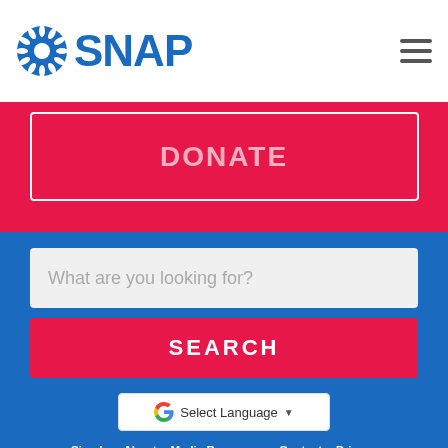SNAP
DONATE
What are you looking for?
SEARCH
G Select Language ▼
Sign In  About  Media Resources  Contact  Privacy
SHARE